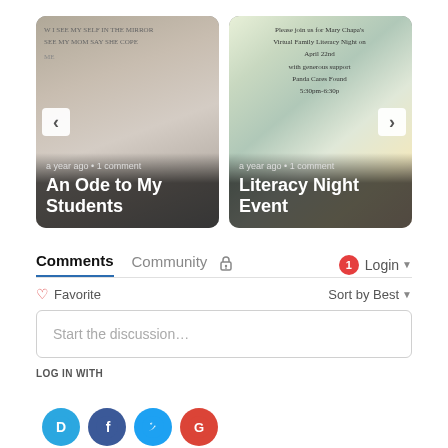[Figure (screenshot): Two blog post cards side by side. Left card shows 'An Ode to My Students' with a child's artwork background, timestamp 'a year ago · 1 comment'. Right card shows 'Literacy Night Event' with a colorful flyer background, timestamp 'a year ago · 1 comment'. Navigation arrows on sides.]
Comments  Community  🔒  1  Login
♡ Favorite
Sort by Best
Start the discussion…
LOG IN WITH
[Figure (logo): Four social login icons: Disqus (D, light blue), Facebook (f, dark blue), Twitter (bird, light blue), Google (G, red)]